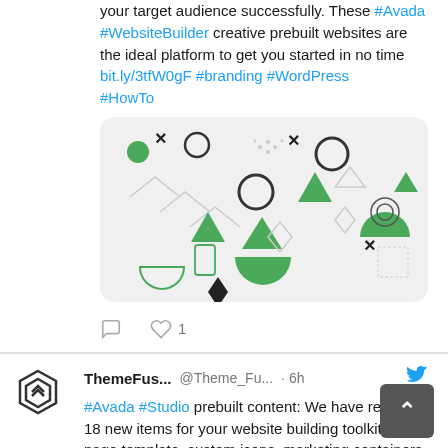your target audience successfully. These #Avada #WebsiteBuilder creative prebuilt websites are the ideal platform to get you started in no time bit.ly/3tfW0gF #branding #WordPress #HowTo
[Figure (illustration): Geometric pattern image with green and dark shapes including triangles, circles, crosses, diamonds on a light gray background with rounded corners]
ThemeFus... @Theme_Fu... · 6h
#Avada #Studio prebuilt content: We have released 18 new items for your website building toolkit. A page template, custom icons, marketing containers & more bit.ly/3PBFmic to